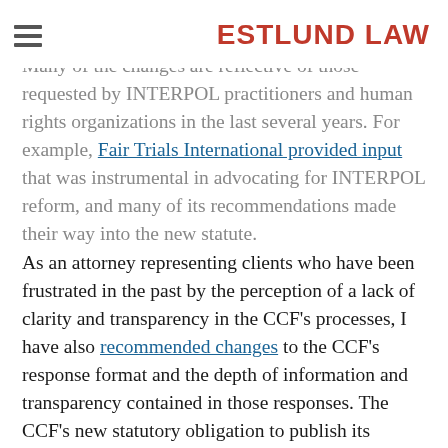ESTLUND LAW
Many of the changes are reflective of those requested by INTERPOL practitioners and human rights organizations in the last several years. For example, Fair Trials International provided input that was instrumental in advocating for INTERPOL reform, and many of its recommendations made their way into the new statute.
As an attorney representing clients who have been frustrated in the past by the perception of a lack of clarity and transparency in the CCF's processes, I have also recommended changes to the CCF's response format and the depth of information and transparency contained in those responses. The CCF's new statutory obligation to publish its decisions, as discussed here, is one of the most welcome changes of all.